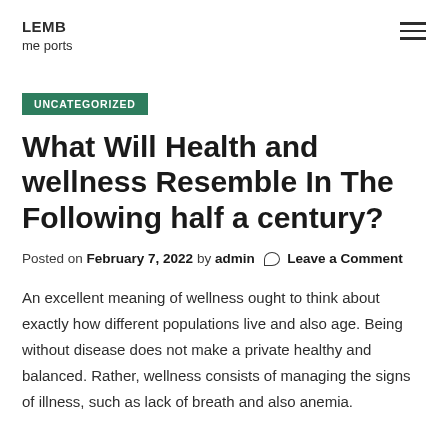LEMB
me ports
UNCATEGORIZED
What Will Health and wellness Resemble In The Following half a century?
Posted on February 7, 2022 by admin  Leave a Comment
An excellent meaning of wellness ought to think about exactly how different populations live and also age. Being without disease does not make a private healthy and balanced. Rather, wellness consists of managing the signs of illness, such as lack of breath and also anemia.